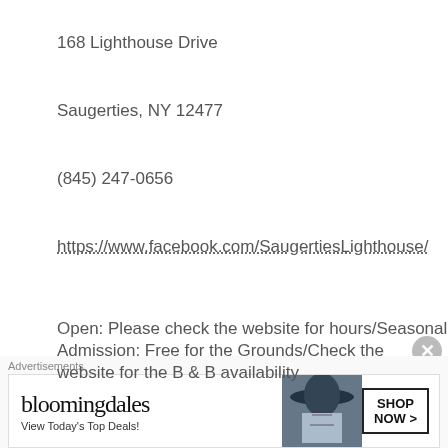168 Lighthouse Drive
Saugerties, NY 12477
(845) 247-0656
https://www.facebook.com/SaugertiesLighthouse/
Open: Please check the website for hours/Seasonal
Admission: Free for the Grounds/Check the website for the B & B availability
Intro
[Figure (other): Bloomingdale's advertisement banner with logo, 'View Today's Top Deals!' text, woman with hat image, and SHOP NOW button]